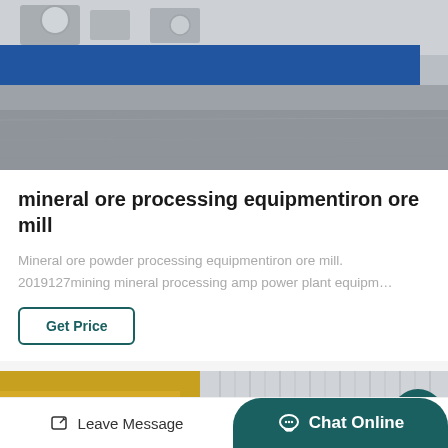[Figure (photo): Industrial machinery or equipment with a blue horizontal bar and grey/concrete ground visible, partially cropped at top]
mineral ore processing equipmentiron ore mill
Mineral ore powder processing equipmentiron ore mill. 2019127mining mineral processing amp power plant equipm…
Get Price
[Figure (photo): Industrial equipment with yellow/golden machinery on the left and grey corrugated wall on the right, partially cropped]
Leave Message   Chat Online